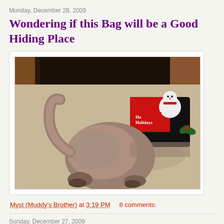Monday, December 28, 2009
Wondering if this Bag will be a Good Hiding Place
[Figure (photo): A fluffy gray/brown cat with its head buried inside a red Christmas gift bag decorated with a snowman design, with only the cat's back and tail visible. The cat is on a beige carpet under a wooden table.]
Myst (Muddy's Brother) at 3:19 PM    8 comments:
Sunday, December 27, 2009